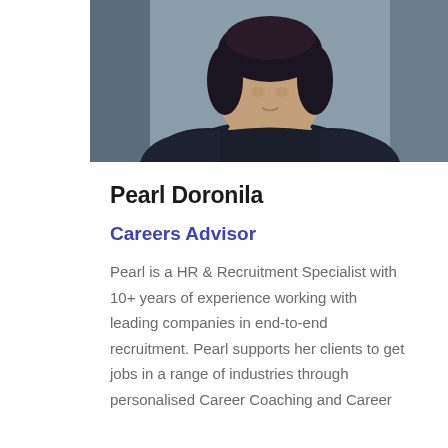[Figure (photo): Headshot photo of Pearl Doronila, a woman wearing a dark navy cardigan over a floral top, with a cross necklace, photographed against a blurred stone background.]
Pearl Doronila
Careers Advisor
Pearl is a HR & Recruitment Specialist with 10+ years of experience working with leading companies in end-to-end recruitment. Pearl supports her clients to get jobs in a range of industries through personalised Career Coaching and Career